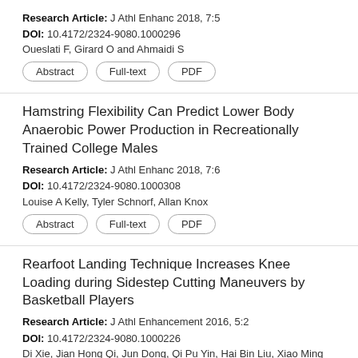Research Article: J Athl Enhanc 2018, 7:5
DOI: 10.4172/2324-9080.1000296
Oueslati F, Girard O and Ahmaidi S
Hamstring Flexibility Can Predict Lower Body Anaerobic Power Production in Recreationally Trained College Males
Research Article: J Athl Enhanc 2018, 7:6
DOI: 10.4172/2324-9080.1000308
Louise A Kelly, Tyler Schnorf, Allan Knox
Rearfoot Landing Technique Increases Knee Loading during Sidestep Cutting Maneuvers by Basketball Players
Research Article: J Athl Enhancement 2016, 5:2
DOI: 10.4172/2324-9080.1000226
Di Xie, Jian Hong Qi, Jun Dong, Qi Pu Yin, Hai Bin Liu, Xiao Ming Li, Shan Shan Wei, Feng Gao